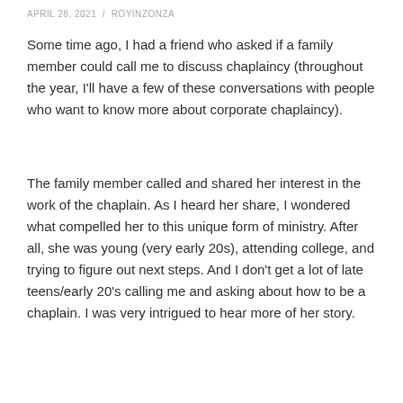APRIL 28, 2021  /  ROYINZONZA
Some time ago, I had a friend who asked if a family member could call me to discuss chaplaincy (throughout the year, I'll have a few of these conversations with people who want to know more about corporate chaplaincy).
The family member called and shared her interest in the work of the chaplain. As I heard her share, I wondered what compelled her to this unique form of ministry. After all, she was young (very early 20s), attending college, and trying to figure out next steps. And I don't get a lot of late teens/early 20's calling me and asking about how to be a chaplain. I was very intrigued to hear more of her story.